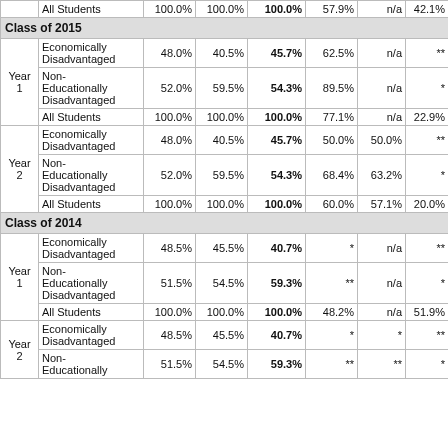|  | Student Group | Col3 | Col4 | Col5 | Col6 | Col7 | Col8 |
| --- | --- | --- | --- | --- | --- | --- | --- |
|  | All Students | 100.0% | 100.0% | 100.0% | 57.9% | n/a | 42.1% |
| Class of 2015 |  |  |  |  |  |  |  |
| Year 1 | Economically Disadvantaged | 48.0% | 40.5% | 45.7% | 62.5% | n/a | ** |
|  | Non-Educationally Disadvantaged | 52.0% | 59.5% | 54.3% | 89.5% | n/a | * |
|  | All Students | 100.0% | 100.0% | 100.0% | 77.1% | n/a | 22.9% |
| Year 2 | Economically Disadvantaged | 48.0% | 40.5% | 45.7% | 50.0% | 50.0% | ** |
|  | Non-Educationally Disadvantaged | 52.0% | 59.5% | 54.3% | 68.4% | 63.2% | * |
|  | All Students | 100.0% | 100.0% | 100.0% | 60.0% | 57.1% | 20.0% |
| Class of 2014 |  |  |  |  |  |  |  |
| Year 1 | Economically Disadvantaged | 48.5% | 45.5% | 40.7% | * | n/a | ** |
|  | Non-Educationally Disadvantaged | 51.5% | 54.5% | 59.3% | ** | n/a | * |
|  | All Students | 100.0% | 100.0% | 100.0% | 48.2% | n/a | 51.9% |
| Year 2 | Economically Disadvantaged | 48.5% | 45.5% | 40.7% | * | * | ** |
|  | Non-Educationally Disadvantaged | 51.5% | 54.5% | 59.3% | ** | ** | * |